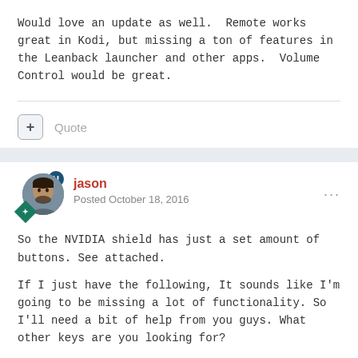Would love an update as well.  Remote works great in Kodi, but missing a ton of features in the Leanback launcher and other apps.  Volume Control would be great.
So the NVIDIA shield has just a set amount of buttons. See attached.
If I just have the following, It sounds like I'm going to be missing a lot of functionality. So I'll need a bit of help from you guys. What other keys are you looking for?